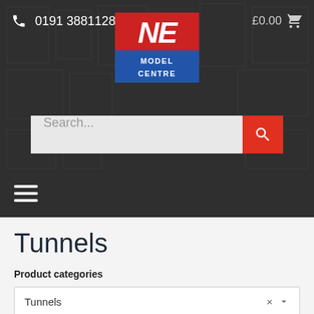[Figure (screenshot): NE Model Centre website header with dark background showing model kit imagery, phone number 0191 3881128, NE Model Centre logo (red and blue), cart showing £0.00, search bar with orange search button, and hamburger menu icon]
Tunnels
Product categories
Tunnels